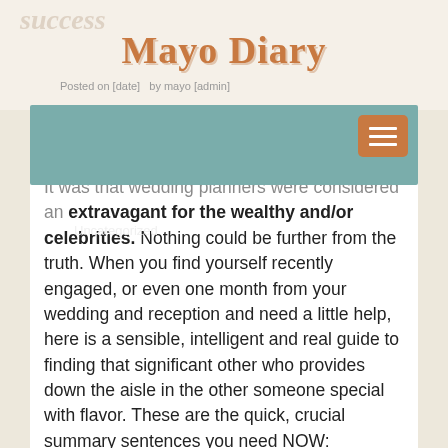success
Mayo Diary
Posted on [date] by mayo [admin]
Uncategorized
It was that wedding planners were considered an extravagant for the wealthy and/or celebrities. Nothing could be further from the truth. When you find yourself recently engaged, or even one month from your wedding and reception and need a little help, here is a sensible, intelligent and real guide to finding that significant other who provides down the aisle in the other someone special with flavor. These are the quick, crucial summary sentences you need NOW:
1) In order to friends, vendors and take a blogs and sites may trust. Ask their rules of thumb. Schedule meetings with at least three highly vetted consultants/planners after checking out their websites and viewing their images. Someone ask